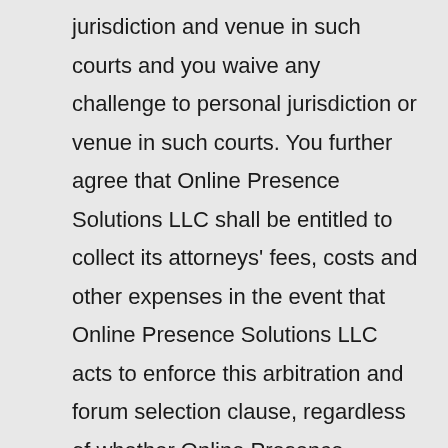jurisdiction and venue in such courts and you waive any challenge to personal jurisdiction or venue in such courts. You further agree that Online Presence Solutions LLC shall be entitled to collect its attorneys' fees, costs and other expenses in the event that Online Presence Solutions LLC acts to enforce this arbitration and forum selection clause, regardless of whether Online Presence Solutions LLC prevails in the underlying action. The final award in any such arbitration proceeding shall be subject to entry as a judgment by any court of competent jurisdiction, provided that such judgment does not conflict with the terms and provisions hereof. The jurisdiction of the arbiter (or arbiters) with respect to legal matters shall be limited only by the statutory and common law of the Kootenai County District Court and